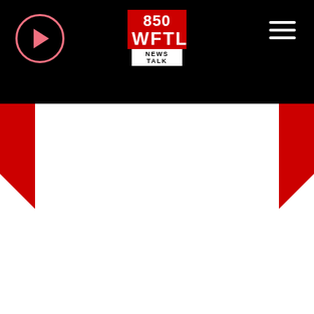[Figure (logo): 850 WFTL News Talk radio station logo in red and white on black header bar with play button and hamburger menu]
Catholic Charities can help people through homeless prevention programs before they are evicted. The Quantum Foundation grant will be put toward Rent and mortgage payments. “Most grants are for rental assistance only, so this will be a great way for us to help homeowners keep their homes,” Chevere said.
Leaders say they are seeing clientele from all walks of life. “We have helped flight attendants, psychologists – people from higher paying jobs who are not used to seeking out help, but have lost work from the circumstances surrounding COVID-19,” Chevere said.